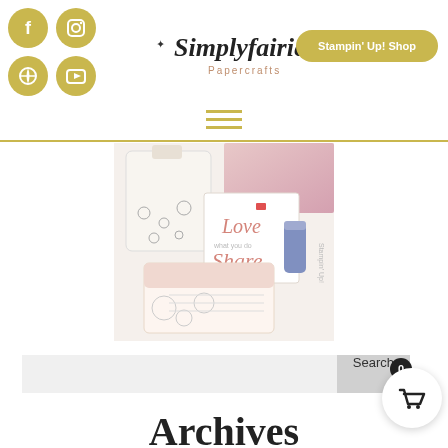[Figure (logo): Simply Fairies Papercrafts logo with fairy silhouette and script text]
[Figure (other): Social media icons: Facebook, Instagram, Pinterest, YouTube in gold circles]
[Figure (other): Stampin Up Shop button in gold rounded rectangle]
[Figure (other): Hamburger menu icon in gold]
[Figure (photo): Stampin Up product photo showing craft items: a fabric pouch with floral pattern, a card saying Love what you do Share what you love, a floral envelope, and a purple tumbler]
[Figure (other): Search bar with Search button and shopping cart badge showing 0 items]
Archives